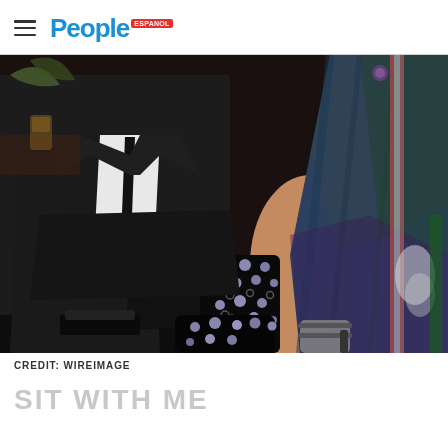People
[Figure (photo): Close-up photograph of two people seated at what appears to be an event or nightclub. A man in a dark suit with a ring on his finger is visible on the left. A woman wearing a studded/jeweled black garment and strappy heeled shoes sits next to him, with a colorful patterned dress visible. Various accessories and metallic objects visible in background.]
CREDIT: WIREIMAGE
SIT WITH ME